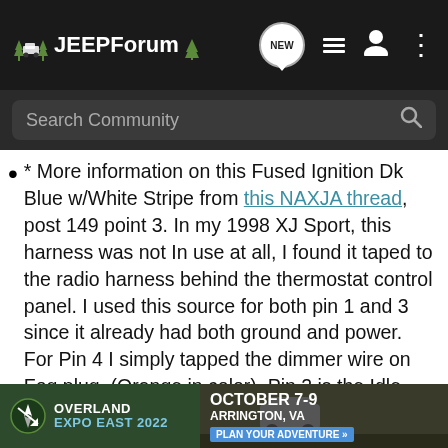JEEPForum — Search Community
* More information on this Fused Ignition Dk Blue w/White Stripe from this NAXJA thread, post 149 point 3. In my 1998 XJ Sport, this harness was not In use at all, I found it taped to the radio harness behind the thermostat control panel. I used this source for both pin 1 and 3 since it already had both ground and power. For Pin 4 I simply tapped the dimmer wire on Fog plug, (Orange in color). Pin 2 is the Idle Actuator wire, which has been really well covered under other threads. Connect to the solid grey wire at pin A12 on the PCM connector. I got super lucky. In my 1998 XJ Sport, this was extended past C107 and into the cab, I simply toned it out using a Harbor Freight wire tracer/toner and tapped into it at the cl... it was al...
[Figure (infographic): Overland Expo East 2022 advertisement banner: October 7-9, Arrington, VA. Plan Your Adventure button.]